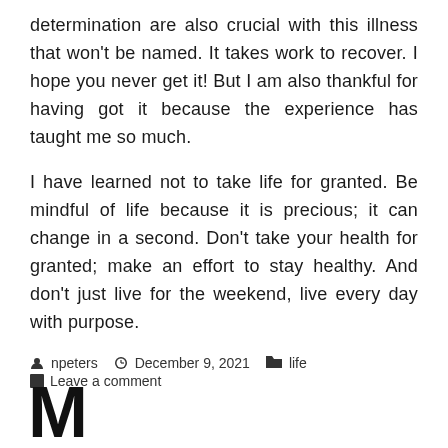determination are also crucial with this illness that won't be named. It takes work to recover. I hope you never get it! But I am also thankful for having got it because the experience has taught me so much.
I have learned not to take life for granted. Be mindful of life because it is precious; it can change in a second. Don't take your health for granted; make an effort to stay healthy. And don't just live for the weekend, live every day with purpose.
npeters  December 9, 2021  life  Leave a comment
M